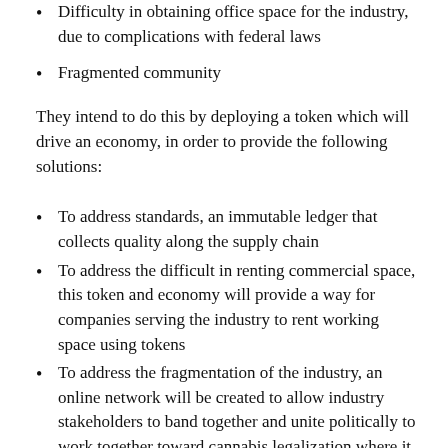Difficulty in obtaining office space for the industry, due to complications with federal laws
Fragmented community
They intend to do this by deploying a token which will drive an economy, in order to provide the following solutions:
To address standards, an immutable ledger that collects quality along the supply chain
To address the difficult in renting commercial space, this token and economy will provide a way for companies serving the industry to rent working space using tokens
To address the fragmentation of the industry, an online network will be created to allow industry stakeholders to band together and unite politically to work together toward cannabis legalization where it has not been yet achieved.